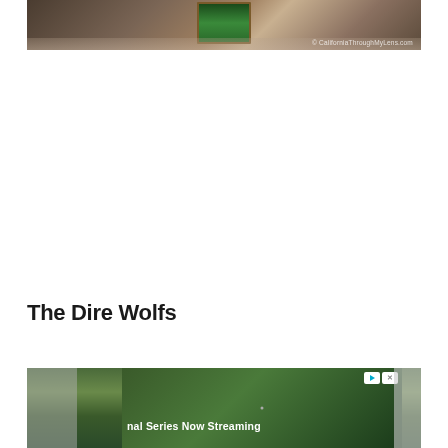[Figure (photo): Top portion of a photo showing a framed display screen on a wooden floor, with a watermark reading '© CaliforniaThroughMyLens.com']
The Dire Wolfs
[Figure (photo): Bottom portion showing an advertisement overlay with text 'nal Series Now Streaming' and a character figure, with play and close buttons visible]